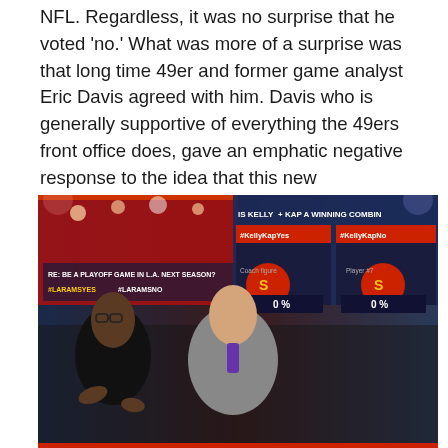NFL. Regardless, it was no surprise that he voted 'no.' What was more of a surprise was that long time 49er and former game analyst Eric Davis agreed with him. Davis who is generally supportive of everything the 49ers front office does, gave an emphatic negative response to the idea that this new player/coach combination could reap rewards.
[Figure (photo): Two men standing in an NFL TV studio set. On the right side of the background screen are two panels showing '#KellyKapYes' and '#KellyKapNo' with 49ers imagery and player number 7, each showing 0% vote gauges. The left background panel shows '#LARamsYes #LARamsNo' text about a playoff game in L.A.]